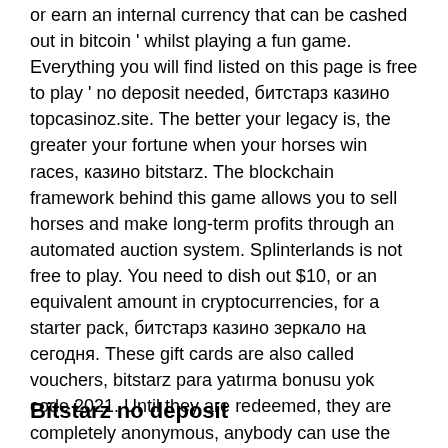or earn an internal currency that can be cashed out in bitcoin ' whilst playing a fun game. Everything you will find listed on this page is free to play ' no deposit needed, битстарз казино topcasinoz.site. The better your legacy is, the greater your fortune when your horses win races, казино bitstarz. The blockchain framework behind this game allows you to sell horses and make long-term profits through an automated auction system. Splinterlands is not free to play. You need to dish out $10, or an equivalent amount in cryptocurrencies, for a starter pack, битстарз казино зеркало на сегодня. These gift cards are also called vouchers, bitstarz para yatırma bonusu yok code 2021. Until they are redeemed, they are completely anonymous, anybody can use the 'unique code', so you can give it as gift to a friend.
Bitstarz no deposit